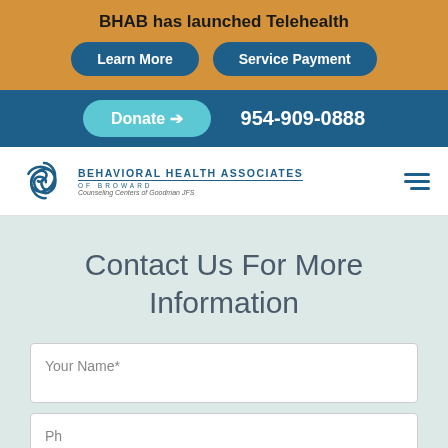BHAB has launched Telehealth
Learn More
Service Payment
Donate  954-909-0888
[Figure (logo): Behavioral Health Associates of Broward logo with swirl icon and text 'BEHAVIORAL HEALTH ASSOCIATES OF BROWARD Counseling Centers of Goodman JFS']
Contact Us For More Information
Your Name*
Ph